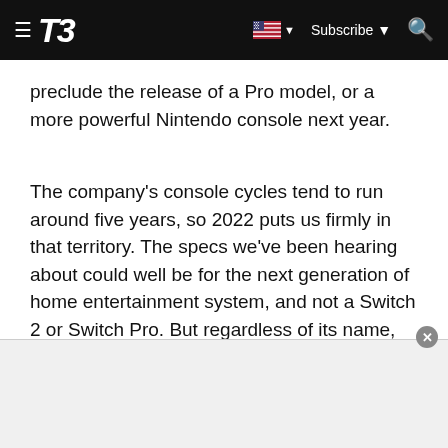T3 — Subscribe
preclude the release of a Pro model, or a more powerful Nintendo console next year.
The company's console cycles tend to run around five years, so 2022 puts us firmly in that territory. The specs we've been hearing about could well be for the next generation of home entertainment system, and not a Switch 2 or Switch Pro. But regardless of its name, not everyone has given up hope of seeing a new piece of kit next year.
[Figure (other): Advertisement banner at bottom of page with close button]